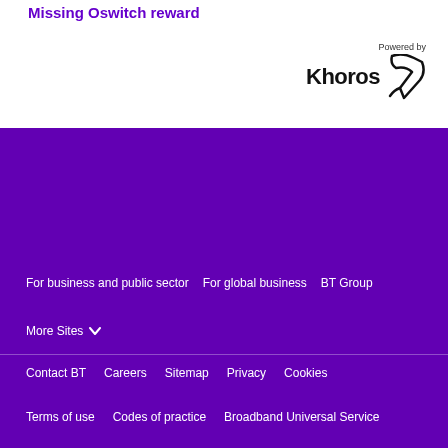Missing Oswitch reward
[Figure (logo): Powered by Khoros logo with stylized arrow icon]
For business and public sector | For global business | BT Group | More Sites | Contact BT | Careers | Sitemap | Privacy | Cookies | Terms of use | Codes of practice | Broadband Universal Service | Make a complaint | T&Cs | Modern Slavery Statement | Here For You - helping you communicate | Accessibility